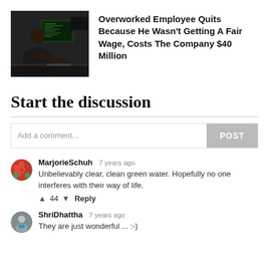[Figure (photo): Person sitting at computer workstation with multiple monitors in dark office setting]
Overworked Employee Quits Because He Wasn't Getting A Fair Wage, Costs The Company $40 Million
Start the discussion
Add a comment...
POST
MarjorieSchuh  7 years ago
Unbelievably clear, clean green water. Hopefully no one interferes with their way of life.
↑ 44 ↓ Reply
ShriDhattha  7 years ago
They are just wonderful ... :-)